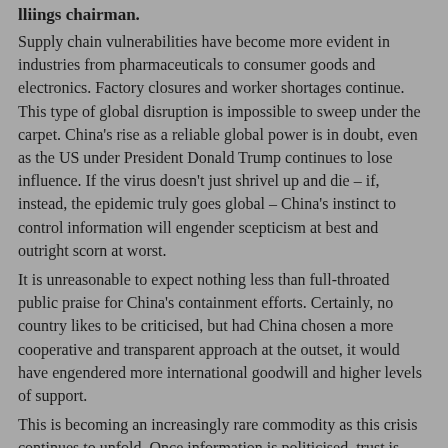lliings chairman.
Supply chain vulnerabilities have become more evident in industries from pharmaceuticals to consumer goods and electronics. Factory closures and worker shortages continue. This type of global disruption is impossible to sweep under the carpet. China's rise as a reliable global power is in doubt, even as the US under President Donald Trump continues to lose influence. If the virus doesn't just shrivel up and die – if, instead, the epidemic truly goes global – China's instinct to control information will engender scepticism at best and outright scorn at worst.
It is unreasonable to expect nothing less than full-throated public praise for China's containment efforts. Certainly, no country likes to be criticised, but had China chosen a more cooperative and transparent approach at the outset, it would have engendered more international goodwill and higher levels of support.
This is becoming an increasingly rare commodity as this crisis continues to unfold. Once information is politicised, trust is broken, and without trust there is no leadership.
Brian P. Klein, a former US. diplomat, is the founder and CEO of Decision Analytics, a NYC-based strategic advisory and political risk firm.